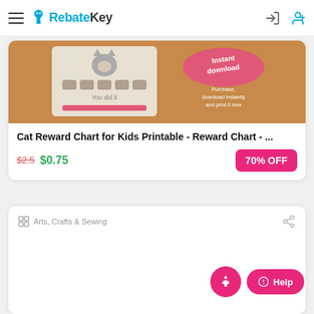RebateKey
[Figure (illustration): Product image for Cat Reward Chart for Kids Printable showing a cat reward chart with 'You did it' text and an 'Instant download' badge on orange/brown background]
Cat Reward Chart for Kids Printable - Reward Chart - ...
$2.5 $0.75   70% OFF
Arts, Crafts & Sewing